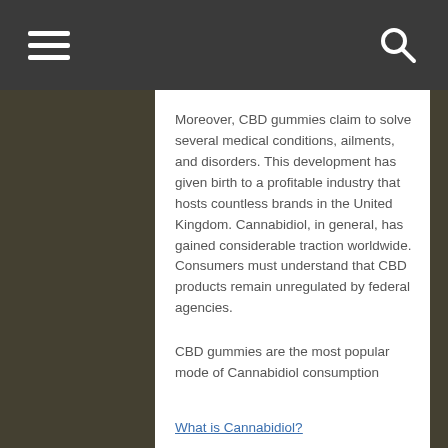Navigation bar with hamburger menu and search icon
Moreover, CBD gummies claim to solve several medical conditions, ailments, and disorders. This development has given birth to a profitable industry that hosts countless brands in the United Kingdom. Cannabidiol, in general, has gained considerable traction worldwide. Consumers must understand that CBD products remain unregulated by federal agencies.
CBD gummies are the most popular mode of Cannabidiol consumption
What is Cannabidiol?